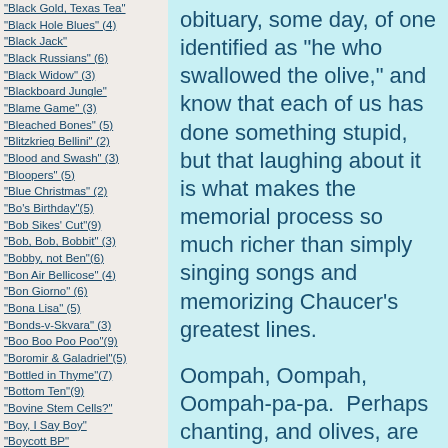"Black Gold, Texas Tea"
"Black Hole Blues" (4)
"Black Jack"
"Black Russians" (6)
"Black Widow" (3)
"Blackboard Jungle"
"Blame Game" (3)
"Bleached Bones" (5)
"Blitzkrieg Bellini" (2)
"Blood and Swash" (3)
"Bloopers" (5)
"Blue Christmas" (2)
"Bo's Birthday"(5)
"Bob Sikes' Cut"(9)
"Bob, Bob, Bobbit" (3)
"Bobby, not Ben"(6)
"Bon Air Bellicose" (4)
"Bon Giorno" (6)
"Bona Lisa" (5)
"Bonds-v-Skvara" (3)
"Boo Boo Poo Poo"(9)
"Boromir & Galadriel"(5)
"Bottled in Thyme"(7)
"Bottom Ten"(9)
"Bovine Stem Cells?"
"Boy, I Say Boy"
"Boycott BP"
"Breaker, Breaker" (4)
obituary, some day, of one identified as "he who swallowed the olive," and know that each of us has done something stupid, but that laughing about it is what makes the memorial process so much richer than simply singing songs and memorizing Chaucer's greatest lines.
Oompah, Oompah, Oompah-pa-pa.  Perhaps chanting, and olives, are the items which bring us back, from time-to-time, to the roots of our very being.  Perhaps that is what scares us.  Perhaps.